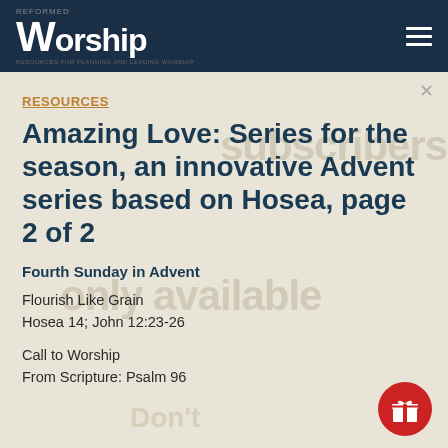REFORMED worship | RESOURCES FOR PLANNING AND LEADING WORSHIP
RESOURCES
Amazing Love: Series for the season, an innovative Advent series based on Hosea, page 2 of 2
Fourth Sunday in Advent
Flourish Like Grain
Hosea 14; John 12:23-26
Call to Worship
From Scripture: Psalm 96